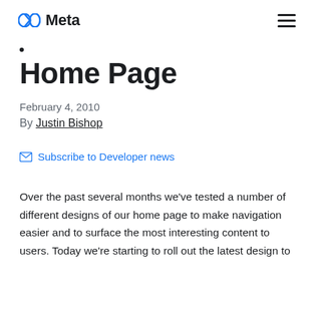Meta
Home Page
February 4, 2010
By Justin Bishop
Subscribe to Developer news
Over the past several months we've tested a number of different designs of our home page to make navigation easier and to surface the most interesting content to users. Today we're starting to roll out the latest design to